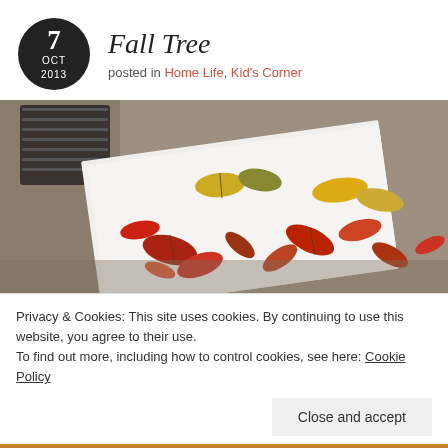Fall Tree
posted in Home Life, Kid's Corner
[Figure (photo): Overhead photo of autumn leaves (red, yellow, orange) arranged on a white surface, with a black metal garden chair and concrete pavement visible in background]
Privacy & Cookies: This site uses cookies. By continuing to use this website, you agree to their use.
To find out more, including how to control cookies, see here: Cookie Policy
Close and accept